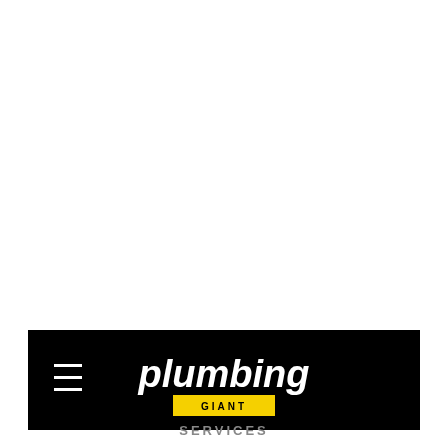[Figure (logo): Plumbing Giant logo on black navigation bar with hamburger menu icon on the left. Logo shows 'plumbing' in large white bold italic text and 'GIANT' in a yellow rectangle below.]
SERVICES